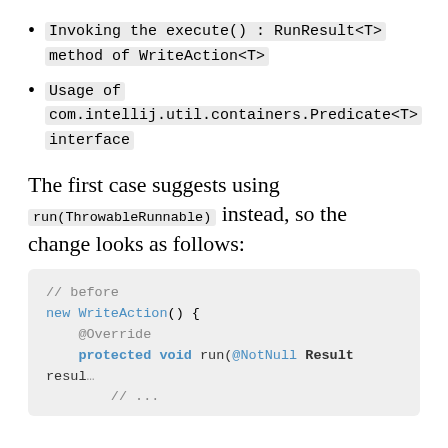Invoking the execute() : RunResult<T> method of WriteAction<T>
Usage of com.intellij.util.containers.Predicate<T> interface
The first case suggests using run(ThrowableRunnable) instead, so the change looks as follows:
// before
new WriteAction() {
    @Override
    protected void run(@NotNull Result result
    // ...